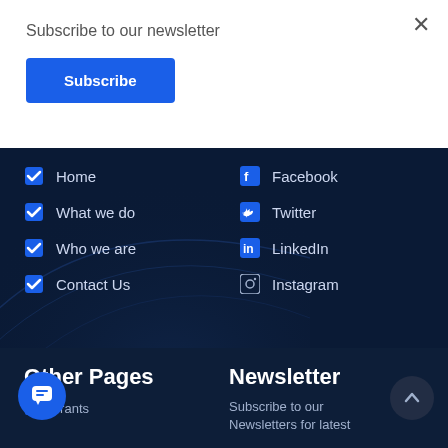Subscribe to our newsletter
Subscribe
×
Home
What we do
Who we are
Contact Us
Facebook
Twitter
LinkedIn
Instagram
Other Pages
Newsletter
Grants
Subscribe to our Newsletters for latest